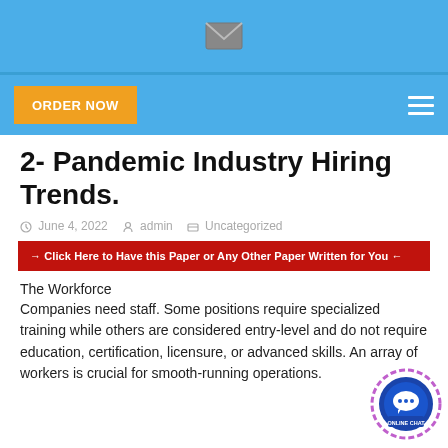[Figure (illustration): Blue header bar with a grey envelope/mail icon centered]
[Figure (illustration): Blue navigation bar with an orange ORDER NOW button on the left and a white hamburger menu icon on the right]
2- Pandemic Industry Hiring Trends.
June 4, 2022   admin   Uncategorized
→ Click Here to Have this Paper or Any Other Paper Written for You ←
The Workforce
Companies need staff. Some positions require specialized training while others are considered entry-level and do not require education, certification, licensure, or advanced skills. An array of workers is crucial for smooth-running operations.
[Figure (illustration): Online chat bubble widget icon at bottom right]